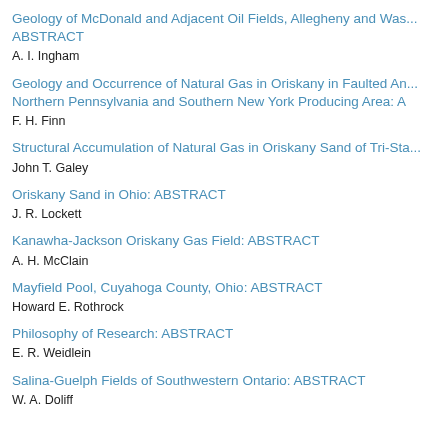Geology of McDonald and Adjacent Oil Fields, Allegheny and Was... ABSTRACT
A. I. Ingham
Geology and Occurrence of Natural Gas in Oriskany in Faulted An... Northern Pennsylvania and Southern New York Producing Area: A
F. H. Finn
Structural Accumulation of Natural Gas in Oriskany Sand of Tri-Sta...
John T. Galey
Oriskany Sand in Ohio: ABSTRACT
J. R. Lockett
Kanawha-Jackson Oriskany Gas Field: ABSTRACT
A. H. McClain
Mayfield Pool, Cuyahoga County, Ohio: ABSTRACT
Howard E. Rothrock
Philosophy of Research: ABSTRACT
E. R. Weidlein
Salina-Guelph Fields of Southwestern Ontario: ABSTRACT
W. A. Doliff